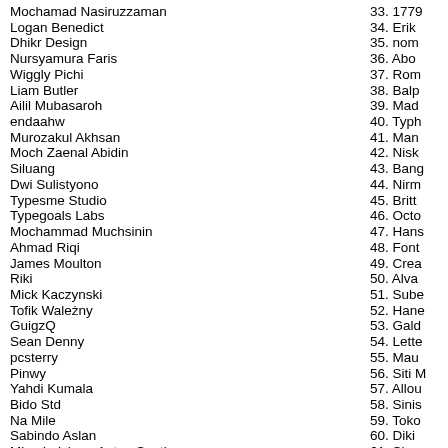Mochamad Nasiruzzaman
Logan Benedict
Dhikr Design
Nursyamura Faris
Wiggly Pichi
Liam Butler
Ailil Mubasaroh
endaahw
Murozakul Akhsan
Moch Zaenal Abidin
Siluang
Dwi Sulistyono
Typesme Studio
Typegoals Labs
Mochammad Muchsinin
Ahmad Riqi
James Moulton
Riki
Mick Kaczynski
Tofik Wależny
GuigzQ
Sean Denny
pcsterry
Pinwy
Yahdi Kumala
Bido Std
Na Mile
Sabindo Aslan
Miracledsign - Anton Septiawan
1PrivateTime
33. 1779
34. Erik
35. nom
36. Abo
37. Rom
38. Balp
39. Mad
40. Typh
41. Man
42. Nisk
43. Bang
44. Nirm
45. Britt
46. Octo
47. Hans
48. Font
49. Crea
50. Alva
51. Sube
52. Hane
53. Gald
54. Lette
55. Mau
56. Siti M
57. Allou
58. Sinis
59. Toko
60. Diki
61. Shan
62. Putra